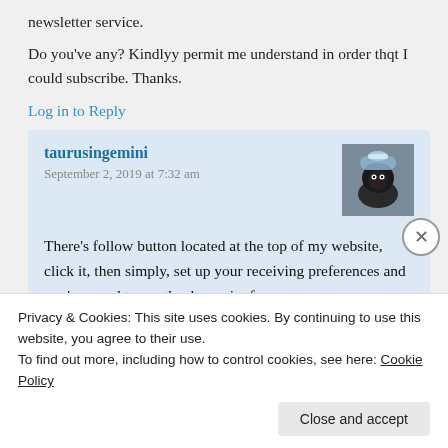newsletter service.
Do you've any? Kindlyy permit me understand in order thqt I could subscribe. Thanks.
Log in to Reply
taurusingemini
September 2, 2019 at 7:32 am
[Figure (photo): Avatar photo of a small black dog wearing a light blue hat/outfit]
There's follow button located at the top of my website, click it, then simply, set up your receiving preferences and you're, good to go, thanks again, for
Privacy & Cookies: This site uses cookies. By continuing to use this website, you agree to their use.
To find out more, including how to control cookies, see here: Cookie Policy
Close and accept